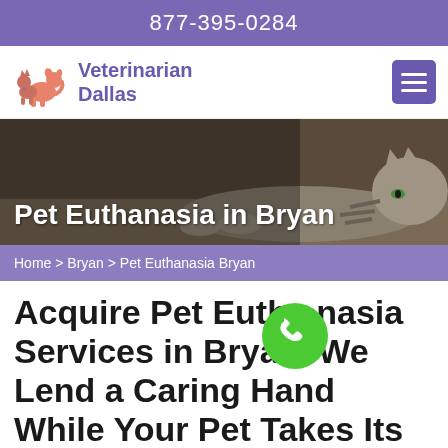877-395-0284
Veterinarian Dallas
[Figure (illustration): Cat lying down on a surface, used as hero banner background]
Pet Euthanasia in Bryan
Home > Bryan > Pet Euthanasia Bryan
Acquire Pet Euthanasia Services in Bryan. We Lend a Caring Hand While Your Pet Takes Its Last Breath. Our Experienced